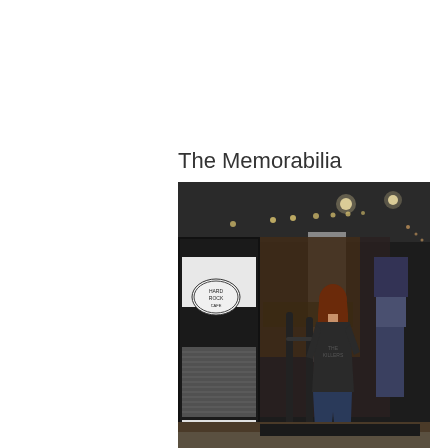The Memorabilia
[Figure (photo): Interior of a memorabilia shop or venue entrance. Dark ceiling with recessed lighting. A person with red/auburn hair wearing a dark t-shirt and jeans stands at a counter or entrance gate. To the left is a large black kiosk or machine with a white oval logo/sticker. Display cases and merchandise visible in background. Another mannequin or figure in blue jeans visible to the right.]